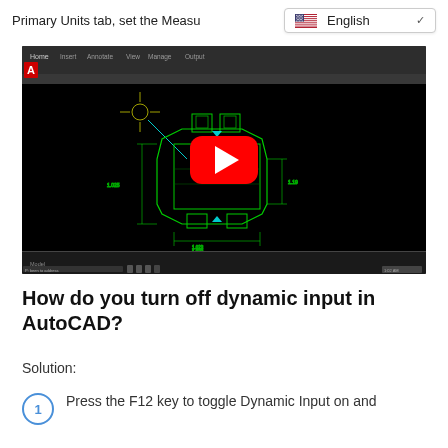Primary Units tab, set the Measu
[Figure (screenshot): AutoCAD interface showing a mechanical part drawing with dynamic input dimensions, with a YouTube play button overlay indicating a tutorial video]
How do you turn off dynamic input in AutoCAD?
Solution:
Press the F12 key to toggle Dynamic Input on and